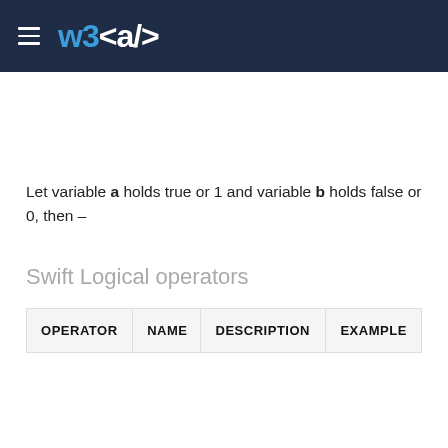W3 <a/>
Let variable a holds true or 1 and variable b holds false or 0, then –
Swift Logical operators
| OPERATOR | NAME | DESCRIPTION | EXAMPLE |
| --- | --- | --- | --- |